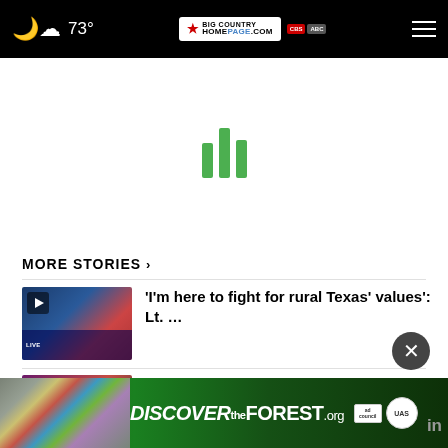73° Big Country Homepage - KTAB CBS
[Figure (other): Loading spinner with three green vertical bars]
MORE STORIES >
[Figure (photo): Thumbnail with play button showing a political figure]
'I'm here to fight for rural Texas' values': Lt. …
[Figure (photo): Mugshot thumbnail of a man]
San Angelo native arrested; accused of tampering …
[Figure (other): Partial third story thumbnail]
[Figure (other): Discover the Forest ad banner with Ad Council and USFS logos]